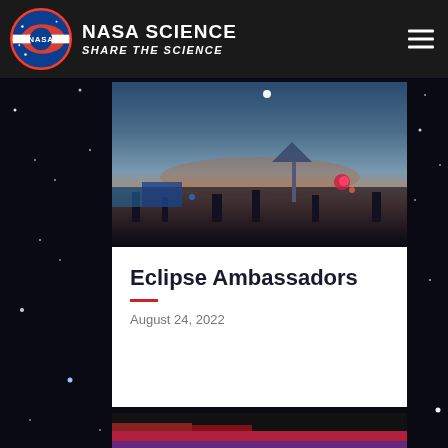NASA SCIENCE SHARE THE SCIENCE
[Figure (photo): Crowd at an outdoor evening event with twilight sky, tents and colorful lights visible, appears to be an eclipse viewing event]
Eclipse Ambassadors
August 24, 2022
[Figure (photo): Partial view of a second card image showing red, purple and dark colors at the bottom of the page]